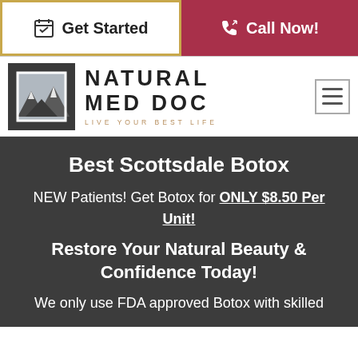[Figure (screenshot): Top navigation bar with two buttons: 'Get Started' (white background, gold border, calendar icon) and 'Call Now!' (dark red/crimson background, phone icon)]
[Figure (logo): Natural Med Doc logo with mountain graphic in dark square, text 'NATURAL MED DOC' and tagline 'LIVE YOUR BEST LIFE', plus hamburger menu icon on the right]
Best Scottsdale Botox
NEW Patients! Get Botox for ONLY $8.50 Per Unit!
Restore Your Natural Beauty & Confidence Today!
We only use FDA approved Botox with skilled